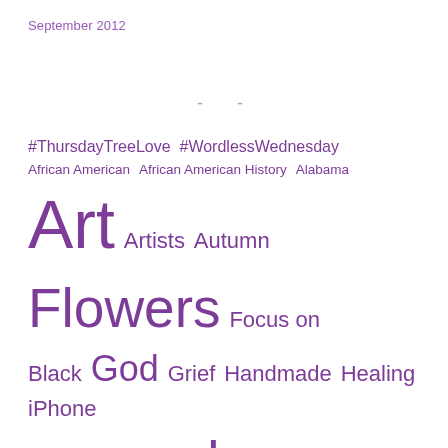September 2012
- -
#ThursdayTreeLove  #WordlessWednesday  African American  African American History  Alabama  Art  Artists  Autumn  Flowers  Focus on Black  God  Grief  Handmade  Healing  iPhone Photos  Literature  love notes  Mail  Microblog Mondays  Nature  Photography  Poetry